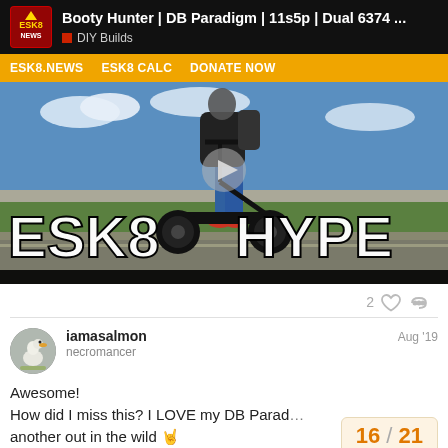Booty Hunter | DB Paradigm | 11s5p | Dual 6374 ... — DIY Builds
ESK8.NEWS   ESK8 CALC   DONATE NOW
[Figure (photo): Video thumbnail showing a person riding an electric scooter on a road with text overlay 'ESK8 HYPE' and a play button icon]
2 ♡ 🔗
iamasalmon
necromancer
Aug '19
Awesome!
How did I miss this? I LOVE my DB Parad…
another out in the wild 🤘
16 / 21